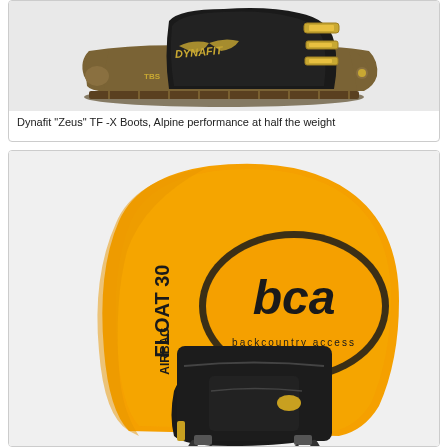[Figure (photo): Dynafit Zeus TF-X ski boots, black and gold/bronze colored, shown from the side. The boot has the Dynafit logo and TBS marking visible. Alpine touring ski boot with buckles.]
Dynafit "Zeus" TF -X Boots, Alpine performance at half the weight
[Figure (photo): BCA (Backcountry Access) Float 30 Airbag avalanche backpack with large orange/yellow inflated airbag deployed above a black backpack. The airbag has 'bca backcountry access' logo and 'FLOAT 30 AIRBAG' text printed on it.]